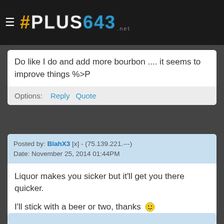# PLUS643 .net
Do like I do and add more bourbon .... it seems to improve things %>P
Options: Reply Quote
Posted by: BlahX3 [x] - (75.139.221.---)
Date: November 25, 2014 01:44PM
Liquor makes you sicker but it'll get you there quicker.

I'll stick with a beer or two, thanks 🙂
Options: Reply Quote